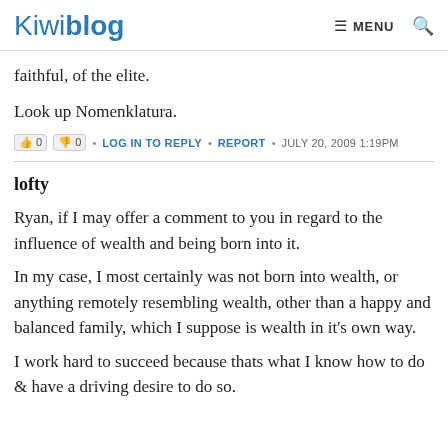Kiwiblog  ☰ MENU  🔍
faithful, of the elite.
Look up Nomenklatura.
0  0  •  LOG IN TO REPLY  •  REPORT  •  JULY 20, 2009 1:19PM
lofty
Ryan, if I may offer a comment to you in regard to the influence of wealth and being born into it.
In my case, I most certainly was not born into wealth, or anything remotely resembling wealth, other than a happy and balanced family, which I suppose is wealth in it's own way.
I work hard to succeed because thats what I know how to do & have a driving desire to do so.